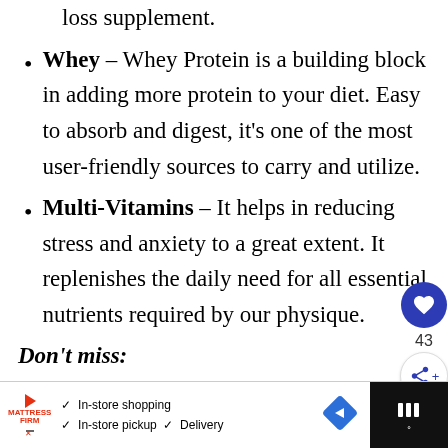Whey – Whey Protein is a building block in adding more protein to your diet. Easy to absorb and digest, it's one of the most user-friendly sources to carry and utilize.
Multi-Vitamins – It helps in reducing stress and anxiety to a great extent. It replenishes the daily need for all essential nutrients required by our physique.
Don't miss:
Dorian Yates' Diet Plan